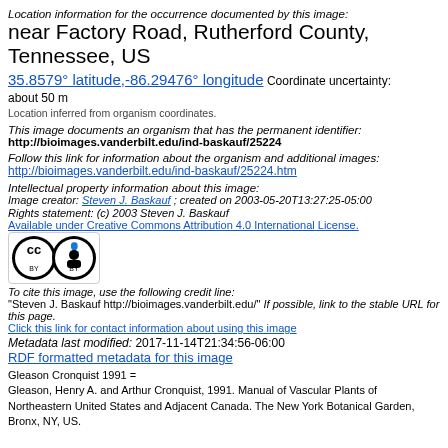Location information for the occurrence documented by this image:
near Factory Road, Rutherford County, Tennessee, US
35.8579° latitude,-86.29476° longitude  Coordinate uncertainty: about 50 m
Location inferred from organism coordinates.
This image documents an organism that has the permanent identifier: http://bioimages.vanderbilt.edu/ind-baskauf/25224
Follow this link for information about the organism and additional images: http://bioimages.vanderbilt.edu/ind-baskauf/25224.htm
Intellectual property information about this image:
Image creator: Steven J. Baskauf ; created on 2003-05-20T13:27:25-05:00
Rights statement: (c) 2003 Steven J. Baskauf
Available under Creative Commons Attribution 4.0 International License.
[Figure (logo): Creative Commons BY license badge]
To cite this image, use the following credit line: "Steven J. Baskauf http://bioimages.vanderbilt.edu/" If possible, link to the stable URL for this page. Click this link for contact information about using this image
Metadata last modified: 2017-11-14T21:34:56-06:00
RDF formatted metadata for this image
Gleason Cronquist 1991 = Gleason, Henry A. and Arthur Cronquist, 1991. Manual of Vascular Plants of Northeastern United States and Adjacent Canada. The New York Botanical Garden, Bronx, NY, US.